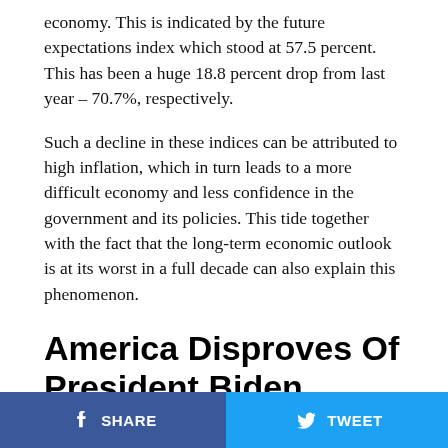economy. This is indicated by the future expectations index which stood at 57.5 percent. This has been a huge 18.8 percent drop from last year – 70.7%, respectively.
Such a decline in these indices can be attributed to high inflation, which in turn leads to a more difficult economy and less confidence in the government and its policies. This tide together with the fact that the long-term economic outlook is at its worst in a full decade can also explain this phenomenon.
America Disproves Of President Biden
With the massive 7.5% increase in the consumer price index – the average household will have to add $276 to
SHARE   TWEET   ...